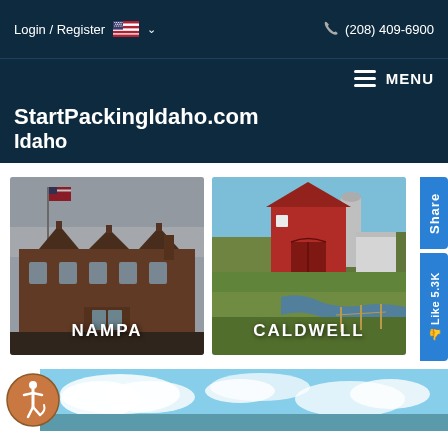Login / Register  🇺🇸 ∨  📞 (208) 409-6900
≡ MENU
StartPackingIdaho.com
Idaho
[Figure (photo): NAMPA - Historic brick building / train depot at dusk with American flag]
[Figure (photo): CALDWELL - Rural farm scene with red barn, silo, and stream through green meadow]
[Figure (photo): Bottom partial image of blue sky with clouds, and accessibility icon in lower left]